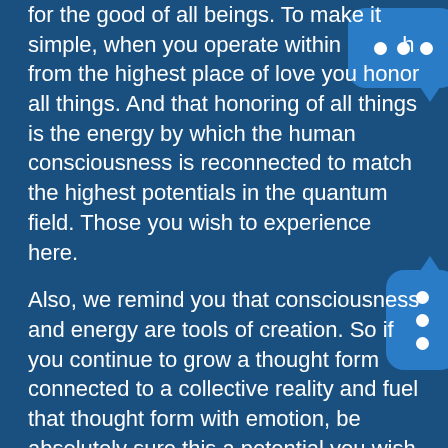for the good of all beings. To make it simple, when you operate within … from the highest place of love you honor all things. And that honoring of all things is the energy by which the human consciousness is reconnected to match the highest potentials in the quantum field. Those you wish to experience here.

Also, we remind you that consciousness and energy are tools of creation. So if you continue to grow a thought form connected to a collective reality and fuel that thought form with emotion, be absolutely sure this a potential you wish to experience here. Creation does have an important part in the universal experience, coming before material manifestation. The potentials that exist in the quantum field carry a weight associated with